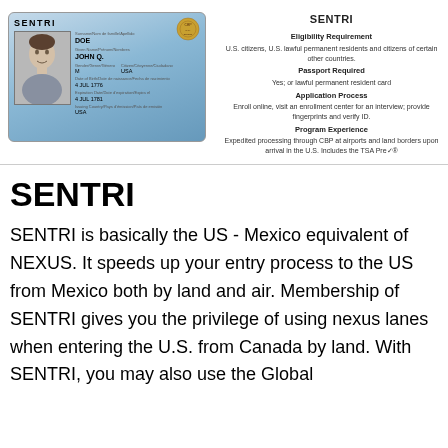[Figure (illustration): SENTRI card sample showing a person named DOE, JOHN Q., Gender M, Country USA, Date of Birth 4 JUL 1776, Expiration Date 4 JUL 1781, Issuing Country USA. Card has a blue gradient background with a photo of a man and a seal.]
SENTRI

Eligibility Requirement
U.S. citizens, U.S. lawful permanent residents and citizens of certain other countries.

Passport Required
Yes; or lawful permanent resident card

Application Process
Enroll online, visit an enrollment center for an interview; provide fingerprints and verify ID.

Program Experience
Expedited processing through CBP at airports and land borders upon arrival in the U.S. Includes the TSA Pre✓®
SENTRI
SENTRI is basically the US - Mexico equivalent of NEXUS. It speeds up your entry process to the US from Mexico both by land and air. Membership of SENTRI gives you the privilege of using nexus lanes when entering the U.S. from Canada by land. With SENTRI, you may also use the Global